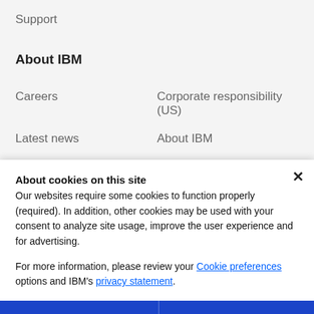Support
About IBM
Careers
Corporate responsibility (US)
Latest news
About IBM
About cookies on this site
Our websites require some cookies to function properly (required). In addition, other cookies may be used with your consent to analyze site usage, improve the user experience and for advertising.

For more information, please review your Cookie preferences options and IBM's privacy statement.
Required only
Accept all